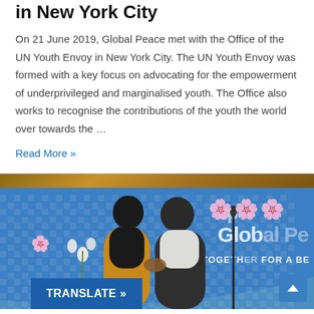in New York City
On 21 June 2019, Global Peace met with the Office of the UN Youth Envoy in New York City. The UN Youth Envoy was formed with a key focus on advocating for the empowerment of underprivileged and marginalised youth. The Office also works to recognise the contributions of the youth the world over towards the …
Read More »
[Figure (photo): Photo of two people shaking hands in front of a blue Global Peace backdrop with orchid flowers. A woman in an orange/gold outfit and a man in a dark suit are shaking hands. A bronze/gold decorative top band is visible. Text in bottom left reads TRANSLATE »]
TRANSLATE »